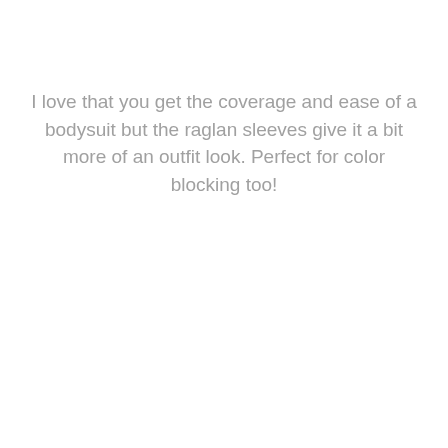I love that you get the coverage and ease of a bodysuit but the raglan sleeves give it a bit more of an outfit look. Perfect for color blocking too!